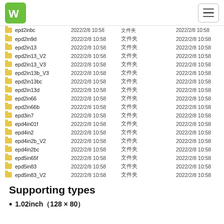WS logo and navigation
| Name | Date Modified | Type | Size | Date Modified2 |
| --- | --- | --- | --- | --- |
| epd2in9d | 2022/2/8 10:58 | 文件夹 |  | 2022/2/8 10:58 |
| epd2in13 | 2022/2/8 10:58 | 文件夹 |  | 2022/2/8 10:58 |
| epd2in13_V2 | 2022/2/8 10:58 | 文件夹 |  | 2022/2/8 10:58 |
| epd2in13_V3 | 2022/2/8 10:58 | 文件夹 |  | 2022/2/8 10:58 |
| epd2in13b_V3 | 2022/2/8 10:58 | 文件夹 |  | 2022/2/8 10:58 |
| epd2in13bc | 2022/2/8 10:58 | 文件夹 |  | 2022/2/8 10:58 |
| epd2in13d | 2022/2/8 10:58 | 文件夹 |  | 2022/2/8 10:58 |
| epd2in66 | 2022/2/8 10:58 | 文件夹 |  | 2022/2/8 10:58 |
| epd2in66b | 2022/2/8 10:58 | 文件夹 |  | 2022/2/8 10:58 |
| epd3in7 | 2022/2/8 10:58 | 文件夹 |  | 2022/2/8 10:58 |
| epd4in01f | 2022/2/8 10:58 | 文件夹 |  | 2022/2/8 10:58 |
| epd4in2 | 2022/2/8 10:58 | 文件夹 |  | 2022/2/8 10:58 |
| epd4in2b_V2 | 2022/2/8 10:58 | 文件夹 |  | 2022/2/8 10:58 |
| epd4in2bc | 2022/2/8 10:58 | 文件夹 |  | 2022/2/8 10:58 |
| epd5in65f | 2022/2/8 10:58 | 文件夹 |  | 2022/2/8 10:58 |
| epd5in83 | 2022/2/8 10:58 | 文件夹 |  | 2022/2/8 10:58 |
| epd5in83_V2 | 2022/2/8 10:58 | 文件夹 |  | 2022/2/8 10:58 |
| epd5in83b_V2 | 2022/2/8 10:58 | 文件夹 |  | 2022/2/8 10:58 |
| epd5in83bc | 2022/2/8 10:58 | 文件夹 |  | 2022/2/8 10:58 |
| epd7in5 | 2022/2/8 10:58 | 文件夹 |  | 2022/2/8 10:58 |
| epd7in5_HD | 2022/2/8 10:58 | 文件夹 |  | 2022/2/8 10:58 |
| epd7in5_V2 | 2022/2/8 10:58 | 文件夹 |  | 2022/2/8 10:58 |
| epd7in5b_HD | 2022/2/8 10:58 | 文件夹 |  | 2022/2/8 10:58 |
| epd7in5b_V2 | 2022/2/8 10:58 | 文件夹 |  | 2022/2/8 10:58 |
| epd7in5bc | 2022/2/8 10:58 | 文件夹 |  | 2022/2/8 10:58 |
| README.md | 2019/12/31 18:26 | MD 文件 | 1 KB | 2022/2/8 10:58 |
Supporting types
1.02inch（128 × 80）